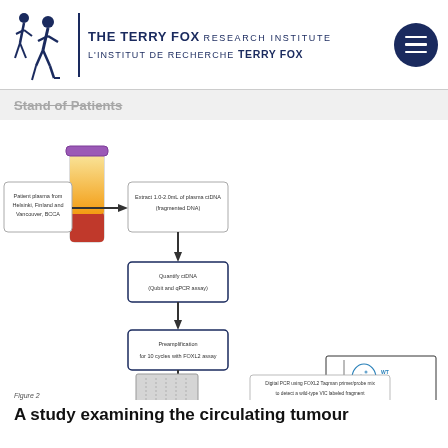THE TERRY FOX RESEARCH INSTITUTE | L'INSTITUT DE RECHERCHE TERRY FOX
Stand of Patients
[Figure (flowchart): Flowchart showing: Patient plasma from Helsinki, Finland and Vancouver, BCCA → Extract 1.0-2.0mL of plasma ctDNA (fragmented DNA) → Quantify ctDNA (Qubit and qPCR assay) → Preamplification for 10 cycles with FOXL2 assay → Digital PCR using FOXL2 Taqman primer/probe mix to detect a wild-type VIC labeled fragment and a mutant FAM labeled fragment. Includes a blood tube illustration and a digital PCR scatter plot showing WT, NEG, and MUT populations on VIC-wild type vs FAM-mutant axes.]
Figure 2
A study examining the circulating tumour